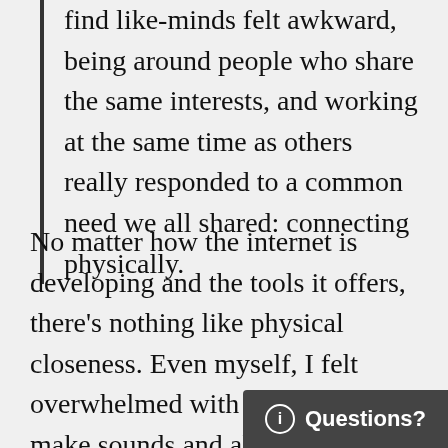find like-minds felt awkward, being around people who share the same interests, and working at the same time as others really responded to a common need we all shared: connecting physically.
No matter how the internet is developing and the tools it offers, there's nothing like physical closeness. Even myself, I felt overwhelmed with the desire to make sounds and also to comment on other's or to answer questions people would share out loud. It's pretty common for music producers to meet in bars and clubs but you can't really talk because the con[text is] not appropriate, plus you can't